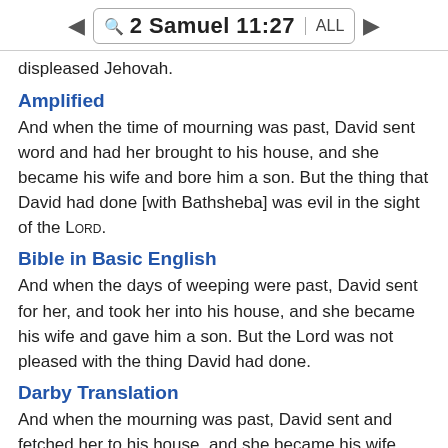2 Samuel 11:27  ALL
displeased Jehovah.
Amplified
And when the time of mourning was past, David sent word and had her brought to his house, and she became his wife and bore him a son. But the thing that David had done [with Bathsheba] was evil in the sight of the LORD.
Bible in Basic English
And when the days of weeping were past, David sent for her, and took her into his house, and she became his wife and gave him a son. But the Lord was not pleased with the thing David had done.
Darby Translation
And when the mourning was past, David sent and fetched her to his house, and she became his wife, and bore him a son. But the thing that David had done was